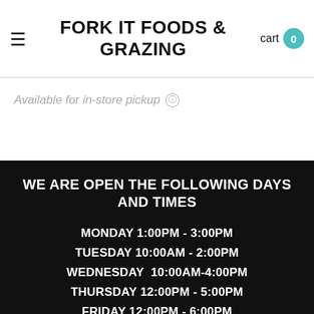FORK IT FOODS & GRAZING
Available for in-store pickup ⓘ
WE ARE OPEN THE FOLLOWING DAYS AND TIMES
MONDAY 1:00PM - 3:00PM
TUESDAY 10:00AM - 2:00PM
WEDNESDAY  10:00AM-4:00PM
THURSDAY 12:00PM - 5:00PM
FRIDAY 12:00PM - 6:00PM
SATURDAY 10:00AM - 2:00PM
SUNDAY CLOSED